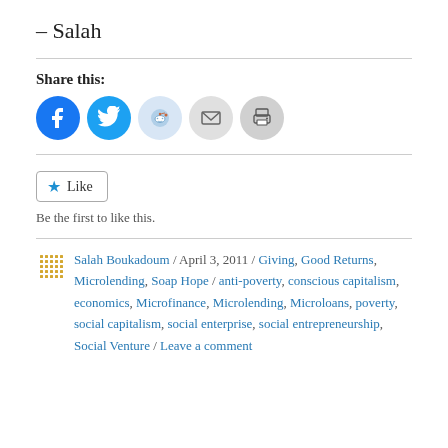– Salah
[Figure (other): Social share buttons: Facebook, Twitter, Reddit, Email, Print]
[Figure (other): Like button with star icon and text 'Be the first to like this.']
Salah Boukadoum / April 3, 2011 / Giving, Good Returns, Microlending, Soap Hope / anti-poverty, conscious capitalism, economics, Microfinance, Microlending, Microloans, poverty, social capitalism, social enterprise, social entrepreneurship, Social Venture / Leave a comment